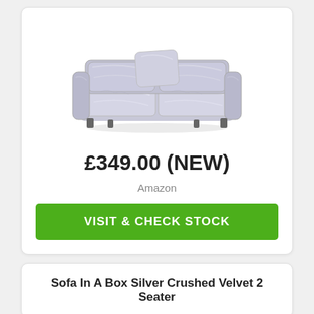[Figure (photo): Silver crushed velvet 2-seater sofa with scatter cushions, photographed on white background]
£349.00 (NEW)
Amazon
VISIT & CHECK STOCK
Sofa In A Box Silver Crushed Velvet 2 Seater